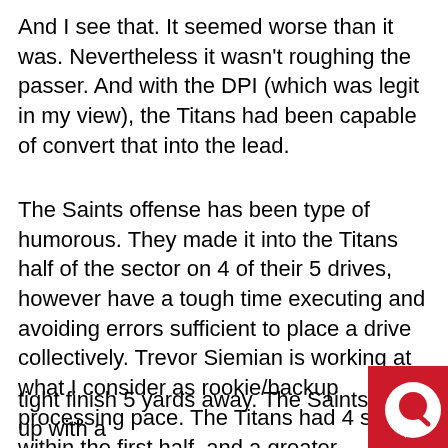And I see that. It seemed worse than it was. Nevertheless it wasn't roughing the passer. And with the DPI (which was legit in my view), the Titans had been capable of convert that into the lead.
The Saints offense has been type of humorous. They made it into the Titans half of the sector on 4 of their 5 drives, however have a tough time executing and avoiding errors sufficient to place a drive collectively. Trevor Siemian is working at what I consider as rookie/backup processing pace. The Titans had 4 sacks within the first half, and a greater quarterback might not take any of them. That was most evident on the ultimate drive of the primary half, after they had first-and-10 on the Tennessee 35 with a minute left and Siemian took a sack late the down after scrambling outdoors the pocket moderately than throwing the ball within the path of his tight finish 5 yards away. The Saints ended up with a
[Figure (logo): Red square with white circular chat/Q logo in bottom-right corner of page]